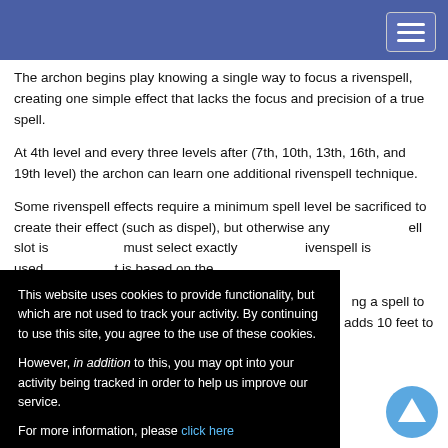The archon begins play knowing a single way to focus a rivenspell, creating one simple effect that lacks the focus and precision of a true spell.
At 4th level and every three levels after (7th, 10th, 13th, 16th, and 19th level) the archon can learn one additional rivenspell technique.
Some rivenspell effects require a minimum spell level be sacrificed to create their effect (such as dispel), but otherwise any ... ell slot is ... must select exactly ... rivenspell is used. ... t is based on the
This website uses cookies to provide functionality, but which are not used to track your activity. By continuing to use this site, you agree to the use of these cookies.

However, in addition to this, you may opt into your activity being tracked in order to help us improve our service.

For more information, please click here
... ng a spell to pow... ...attack at a sing... ...ower this effect, the ...age and adds 10 feet to the maximum range. Thus an archon sacrificing a 3rd